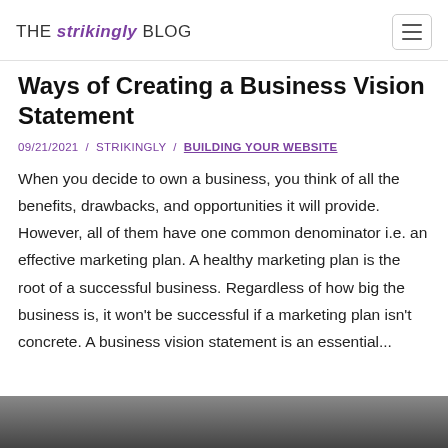THE strikingly BLOG
Ways of Creating a Business Vision Statement
09/21/2021  /  STRIKINGLY  /  BUILDING YOUR WEBSITE
When you decide to own a business, you think of all the benefits, drawbacks, and opportunities it will provide. However, all of them have one common denominator i.e. an effective marketing plan. A healthy marketing plan is the root of a successful business. Regardless of how big the business is, it won't be successful if a marketing plan isn't concrete. A business vision statement is an essential...
[Figure (photo): Bottom partial image of a photo, showing a dark blurred background scene]